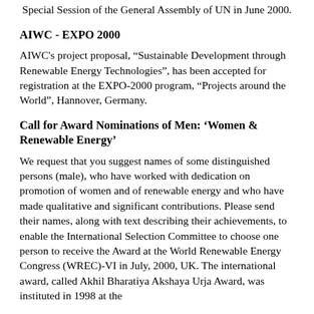Special Session of the General Assembly of UN in June 2000.
AIWC - EXPO 2000
AIWC's project proposal, “Sustainable Development through Renewable Energy Technologies”, has been accepted for registration at the EXPO-2000 program, “Projects around the World”, Hannover, Germany.
Call for Award Nominations of Men: ‘Women & Renewable Energy’
We request that you suggest names of some distinguished persons (male), who have worked with dedication on promotion of women and of renewable energy and who have made qualitative and significant contributions. Please send their names, along with text describing their achievements, to enable the International Selection Committee to choose one person to receive the Award at the World Renewable Energy Congress (WREC)-VI in July, 2000, UK. The international award, called Akhil Bharatiya Akshaya Urja Award, was instituted in 1998 at the